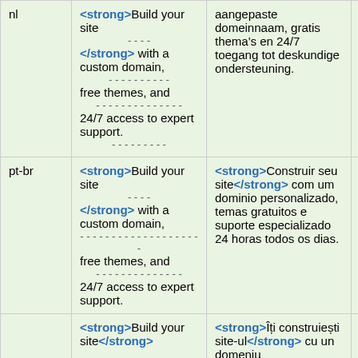| lang | source text | translated text | link |
| --- | --- | --- | --- |
| nl | <strong>Build your site</strong> with a custom domain, ---------- free themes, and -------------- 24/7 access to expert support. ---------- | aangepaste domeinnaam, gratis thema's en 24/7 toegang tot deskundige ondersteuning. | Details |
| pt-br | <strong>Build your site </strong> with a custom domain, -------------------- free themes, and --------------- 24/7 access to expert support. | <strong>Construir seu site</strong> com um dominio personalizado, temas gratuitos e suporte especializado 24 horas todos os dias. | Details |
| (ro) | <strong>Build your site</strong> | <strong>Îți construiești site-ul</strong> cu un domeniu |  |